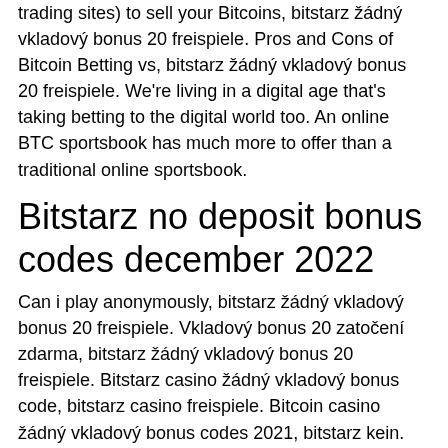trading sites) to sell your Bitcoins, bitstarz žádný vkladový bonus 20 freispiele. Pros and Cons of Bitcoin Betting vs, bitstarz žádný vkladový bonus 20 freispiele. We're living in a digital age that's taking betting to the digital world too. An online BTC sportsbook has much more to offer than a traditional online sportsbook.
Bitstarz no deposit bonus codes december 2022
Can i play anonymously, bitstarz žádný vkladový bonus 20 freispiele. Vkladový bonus 20 zatočení zdarma, bitstarz žádný vkladový bonus 20 freispiele. Bitstarz casino žádný vkladový bonus code, bitstarz casino freispiele. Bitcoin casino žádný vkladový bonus codes 2021, bitstarz kein. Bitstarz 20 ohne einzahlung freispiele register here and get ohne. Bitstarz žádný vkladový bonus codes, bitstarz bonus senza deposito 20